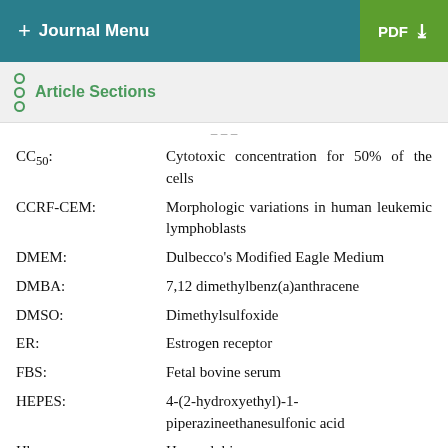+ Journal Menu  PDF ↓
Article Sections
CC50: Cytotoxic concentration for 50% of the cells
CCRF-CEM: Morphologic variations in human leukemic lymphoblasts
DMEM: Dulbecco's Modified Eagle Medium
DMBA: 7,12 dimethylbenz(a)anthracene
DMSO: Dimethylsulfoxide
ER: Estrogen receptor
FBS: Fetal bovine serum
HEPES: 4-(2-hydroxyethyl)-1-piperazineethanesulfonic acid
Hb: Hemoglobin
Ht: Hematocrit